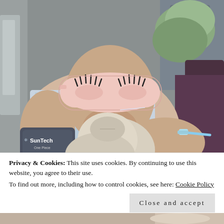[Figure (photo): A person lying in a hospital bed wearing a pink sleep mask with illustrated eyelashes. They have a SunTech One Piece blood pressure cuff on one arm and an IV line in the other arm. They are holding a light-colored fabric item. Hospital equipment is visible in the background.]
Privacy & Cookies: This site uses cookies. By continuing to use this website, you agree to their use.
To find out more, including how to control cookies, see here: Cookie Policy
Close and accept
[Figure (photo): Partial view of another photo at the bottom of the page.]